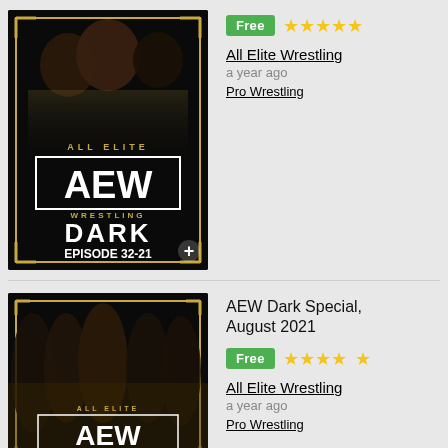[Figure (screenshot): AEW Dark Episode 32-21 thumbnail — promotional image with wrestlers and AEW Dark logo]
Free
★★★★★
All Elite Wrestling
a year ago
Pro Wrestling
[Figure (screenshot): AEW Dark Special, August 2021 thumbnail — promotional image with wrestlers and AEW logo]
AEW Dark Special, August 2021
Free
★★★★½
All Elite Wrestling
a year ago
Pro Wrestling